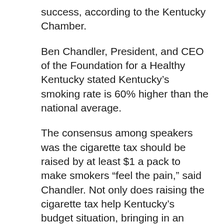success, according to the Kentucky Chamber.
Ben Chandler, President, and CEO of the Foundation for a Healthy Kentucky stated Kentucky's smoking rate is 60% higher than the national average.
The consensus among speakers was the cigarette tax should be raised by at least $1 a pack to make smokers “feel the pain,” said Chandler. Not only does raising the cigarette tax help Kentucky’s budget situation, bringing in an estimated $15 million per year, research has proven a higher tax rate decreases the amount of smoking.
Adkisson further explained, “smoking is not only killing us, it’s bankrupting us- the Centers for Disease Control has estimated smoking-related health expenditures cost for the...